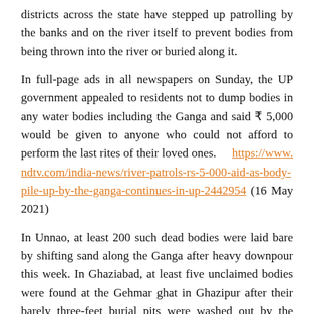districts across the state have stepped up patrolling by the banks and on the river itself to prevent bodies from being thrown into the river or buried along it.
In full-page ads in all newspapers on Sunday, the UP government appealed to residents not to dump bodies in any water bodies including the Ganga and said ₹ 5,000 would be given to anyone who could not afford to perform the last rites of their loved ones. https://www.ndtv.com/india-news/river-patrols-rs-5-000-aid-as-body-pile-up-by-the-ganga-continues-in-up-2442954 (16 May 2021)
In Unnao, at least 200 such dead bodies were laid bare by shifting sand along the Ganga after heavy downpour this week. In Ghaziabad, at least five unclaimed bodies were found at the Gehmar ghat in Ghazipur after their barely three-feet burial pits were washed out by the river. Many